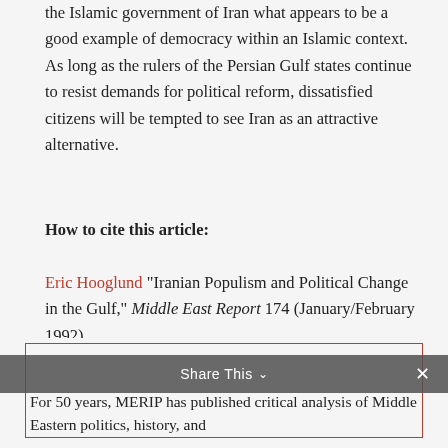the Islamic government of Iran what appears to be a good example of democracy within an Islamic context. As long as the rulers of the Persian Gulf states continue to resist demands for political reform, dissatisfied citizens will be tempted to see Iran as an attractive alternative.
How to cite this article:
Eric Hooglund "Iranian Populism and Political Change in the Gulf," Middle East Report 174 (January/February 1992).
For 50 years, MERIP has published critical analysis of Middle Eastern politics, history, and